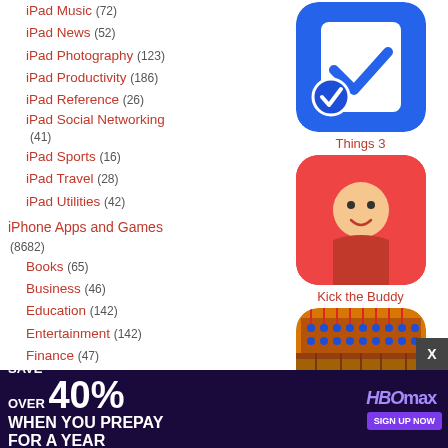iPad Music (72)
iPad News (52)
iPad Photography (123)
iPad Productivity (186)
iPad Reference (26)
iPad Social Networking (41)
iPad Sports (16)
iPad Travel (28)
iPad Utilities (42)
iPhone Apps and Games (8682)
Books (65)
Business (46)
Education (142)
Entertainment (142)
Finance (47)
Food & Drink (30)
Games (6775)
Health & Fitness (122)
Lifestyle (117)
Medi...
Mus...
Navi...
[Figure (illustration): Things 3 app icon - blue checkbox/task manager icon with white checkmark]
Things 3
[Figure (illustration): Kick the Buddy app icon - cartoon character with red superhero costume against red background]
Kick the Buddy
[Figure (illustration): Castle Raid! app icon - top-down view of army marching across bridge]
Castle Raid!
[Figure (illustration): Arrow Fest app icon - flying arrows in a blue sky]
Arrow Fest
[Figure (screenshot): HBO Max advertisement banner - purple/dark background with 'SAVE OVER 40% WHEN YOU PREPAY FOR A YEAR' offer]